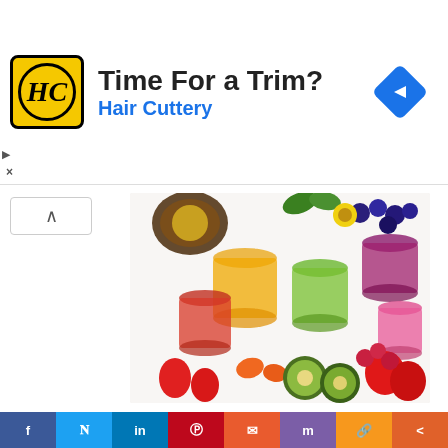[Figure (other): Hair Cuttery advertisement banner with logo, 'Time For a Trim?' title, 'Hair Cuttery' subtitle in blue, and a blue diamond navigation arrow icon on the right]
[Figure (photo): Colorful fruit juices and fresh fruits arranged on a white background, including berries, kiwi, carrot, strawberry, passion fruit, and various juice glasses]
Like any other major dietary change, a cleanse comes with its own set of benefits, but there can also be some hidden risks to watch out for. During a cleanse, you are drastically and quickly cutting back on the number of calories you are consuming each day for the duration of your cleanse. It's no